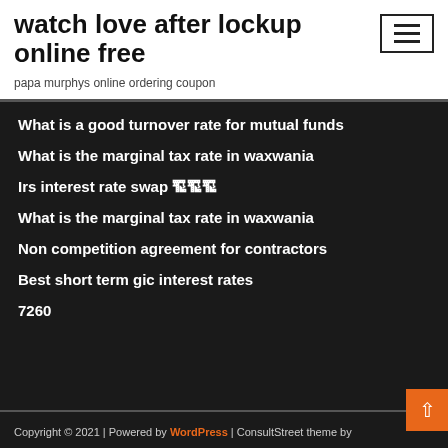watch love after lockup online free
papa murphys online ordering coupon
What is a good turnover rate for mutual funds
What is the marginal tax rate in waxwania
Irs interest rate swap 건설
What is the marginal tax rate in waxwania
Non competition agreement for contractors
Best short term gic interest rates
7260
Copyright © 2021 | Powered by WordPress | ConsultStreet theme by